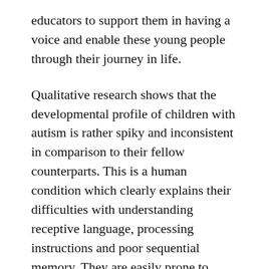educators to support them in having a voice and enable these young people through their journey in life.
Qualitative research shows that the developmental profile of children with autism is rather spiky and inconsistent in comparison to their fellow counterparts. This is a human condition which clearly explains their difficulties with understanding receptive language, processing instructions and poor sequential memory. They are easily prone to distractions and have delayed sensory processing and lack skills in perception. Their developmental differences make them think, feel, view and react to the world differently.